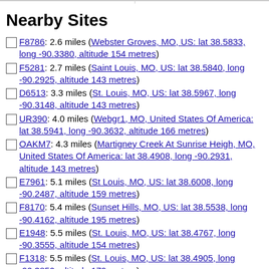Nearby Sites
F8786: 2.6 miles (Webster Groves, MO, US: lat 38.5833, long -90.3380, altitude 154 metres)
F5281: 2.7 miles (Saint Louis, MO, US: lat 38.5840, long -90.2925, altitude 143 metres)
D6513: 3.3 miles (St. Louis, MO, US: lat 38.5967, long -90.3148, altitude 143 metres)
UR390: 4.0 miles (Webgr1, MO, United States Of America: lat 38.5941, long -90.3632, altitude 166 metres)
OAKM7: 4.3 miles (Martigney Creek At Sunrise Heigh, MO, United States Of America: lat 38.4908, long -90.2931, altitude 143 metres)
E7961: 5.1 miles (St Louis, MO, US: lat 38.6008, long -90.2487, altitude 159 metres)
F8170: 5.4 miles (Sunset Hills, MO, US: lat 38.5538, long -90.4162, altitude 195 metres)
E1948: 5.5 miles (St. Louis, MO, US: lat 38.4767, long -90.3555, altitude 154 metres)
F1318: 5.5 miles (St. Louis, MO, US: lat 38.4905, long -90.3850, altitude 179 metres)
F3734: 6.1 miles (St. Louis, MO, US: lat 38.5910, long